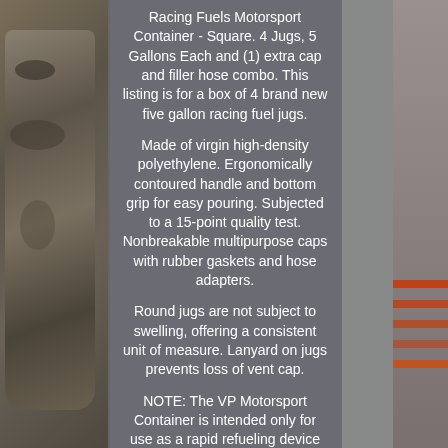[Figure (photo): Background photo of racing fuel jugs, with a camo-patterned jug on the left side and a red/orange striped jug on the right side, overlaid by a semi-transparent grey center panel with white text.]
Racing Fuels Motorsport Container - Square. 4 Jugs, 5 Gallons Each and (1) extra cap and filler hose combo. This listing is for a box of 4 brand new five gallon racing fuel jugs.
Made of virgin high-density polyethylene. Ergonomically contoured handle and bottom grip for easy pouring. Subjected to a 15-point quality test. Nonbreakable multipurpose caps with rubber gaskets and hose adapters.
Round jugs are not subject to swelling, offering a consistent unit of measure. Lanyard on jugs prevents loss of vent cap.
NOTE: The VP Motorsport Container is intended only for use as a rapid refueling device for racing vehicles used in professional off road and closed course competition racing events. It is NOT a